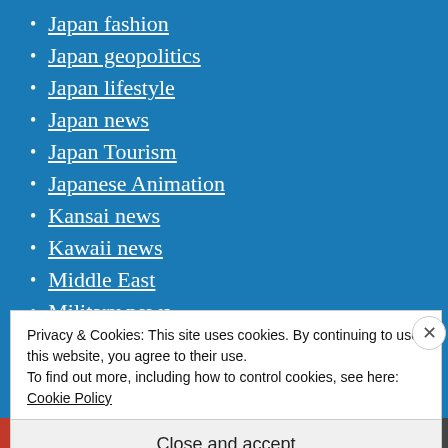Japan fashion
Japan geopolitics
Japan lifestyle
Japan news
Japan Tourism
Japanese Animation
Kansai news
Kawaii news
Middle East
Military news
Myanmar news
Privacy & Cookies: This site uses cookies. By continuing to use this website, you agree to their use.
To find out more, including how to control cookies, see here: Cookie Policy
Close and accept